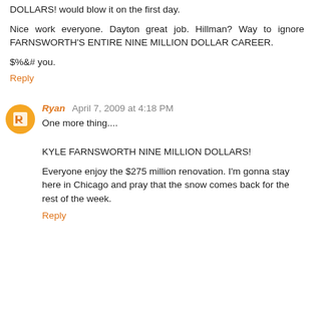DOLLARS! would blow it on the first day.
Nice work everyone. Dayton great job. Hillman? Way to ignore FARNSWORTH'S ENTIRE NINE MILLION DOLLAR CAREER.
$%&# you.
Reply
Ryan  April 7, 2009 at 4:18 PM
One more thing....
KYLE FARNSWORTH NINE MILLION DOLLARS!
Everyone enjoy the $275 million renovation. I'm gonna stay here in Chicago and pray that the snow comes back for the rest of the week.
Reply